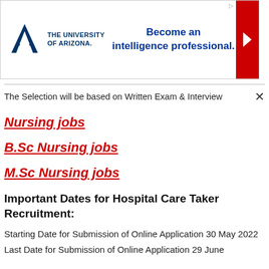[Figure (logo): University of Arizona advertisement banner with logo and text 'Become an intelligence professional.']
The Selection will be based on Written Exam & Interview
Nursing jobs
B.Sc Nursing jobs
M.Sc Nursing jobs
Important Dates for Hospital Care Taker Recruitment:
Starting Date for Submission of Online Application 30 May 2022
Last Date for Submission of Online Application 29 June